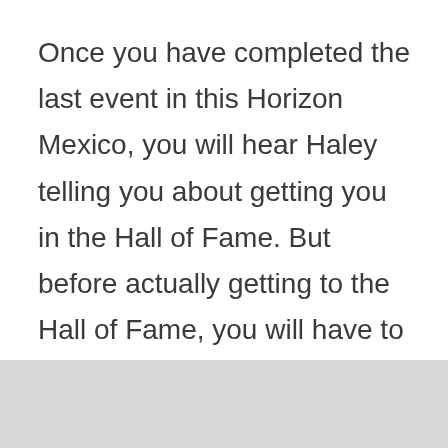Once you have completed the last event in this Horizon Mexico, you will hear Haley telling you about getting you in the Hall of Fame. But before actually getting to the Hall of Fame, you will have to make sure that you have earned 200,000 accolade points. Otherwise, you will have to collect